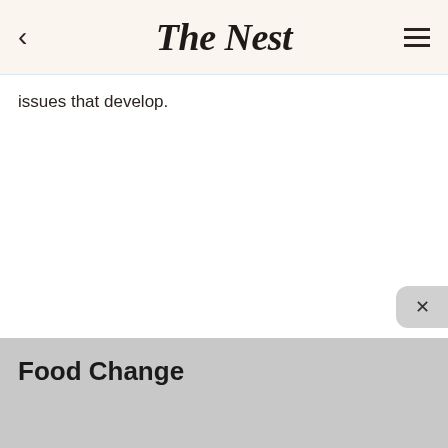The Nest
issues that develop.
Food Change